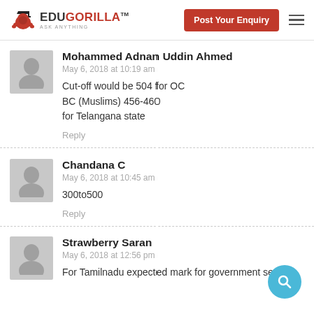EduGorilla™ ASK ANYTHING | Post Your Enquiry
Mohammed Adnan Uddin Ahmed
May 6, 2018 at 10:19 am
Cut-off would be 504 for OC
BC (Muslims) 456-460
for Telangana state
Reply
Chandana C
May 6, 2018 at 10:45 am
300to500
Reply
Strawberry Saran
May 6, 2018 at 12:56 pm
For Tamilnadu expected mark for government sea...